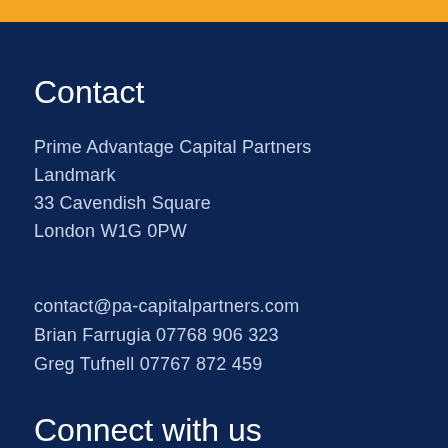Contact
Prime Advantage Capital Partners
Landmark
33 Cavendish Square
London W1G 0PW
contact@pa-capitalpartners.com
Brian Farrugia 07768 906 323
Greg Tufnell 07767 872 459
Connect with us